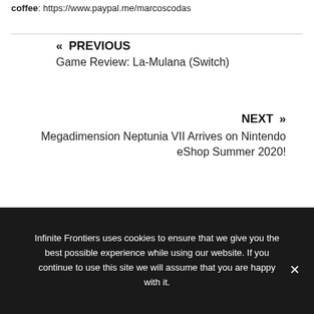coffee: https://www.paypal.me/marcoscodas
« PREVIOUS
Game Review: La-Mulana (Switch)
NEXT »
Megadimension Neptunia VII Arrives on Nintendo eShop Summer 2020!
SEARCH
Infinite Frontiers uses cookies to ensure that we give you the best possible experience while using our website. If you continue to use this site we will assume that you are happy with it.